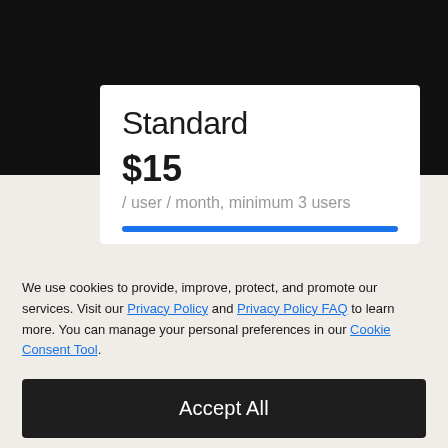Standard
$15
/ user / month, minimum 3 users
We use cookies to provide, improve, protect, and promote our services. Visit our Privacy Policy and Privacy Policy FAQ to learn more. You can manage your personal preferences in our Cookie Consent Tool.
Accept All
Decline